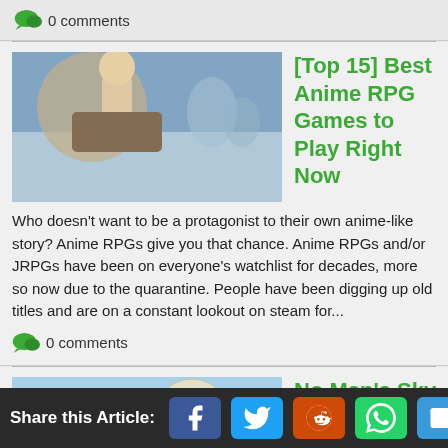0 comments
[Top 15] Best Anime RPG Games to Play Right Now
Who doesn't want to be a protagonist to their own anime-like story? Anime RPGs give you that chance. Anime RPGs and/or JRPGs have been on everyone's watchlist for decades, more so now due to the quarantine. People have been digging up old titles and are on a constant lookout on steam for...
0 comments
No Man's Sky Endures Disappointing Release
No Man's Sky Goes From #3 Most-Played to #132 Most-Played on Steam Indie Studio Hello Games developed and published a game that provided an infinite universe to explore and complete missions. With over 210,000 Steam players on launch day, it is astonishing to see
Share this Article: